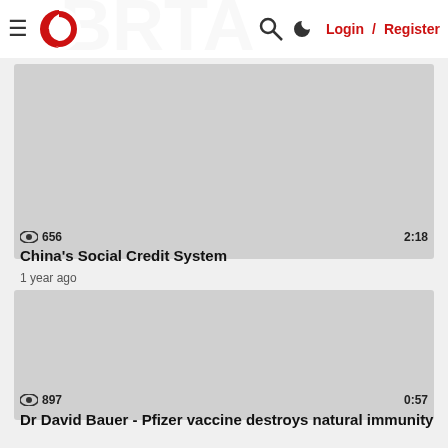≡ [Logo] 🔍 ☽ Login / Register
[Figure (screenshot): Video thumbnail placeholder for China's Social Credit System, light gray background]
👁 656   2:18
China's Social Credit System
1 year ago
[Figure (screenshot): Video thumbnail placeholder for Dr David Bauer - Pfizer vaccine destroys natural immunity, light gray background]
👁 897   0:57
Dr David Bauer - Pfizer vaccine destroys natural immunity